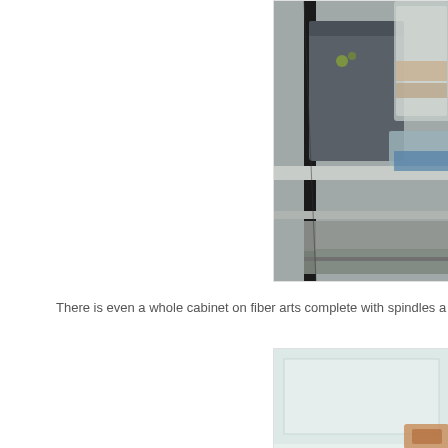[Figure (photo): A metal shelving unit with dark plastic storage bins and translucent containers on shelves, with folded items visible]
There is even a whole cabinet on fiber arts complete with spindles a
[Figure (photo): A light-colored cabinet or drawer unit, partially visible, with a warm-toned object at the bottom right edge]